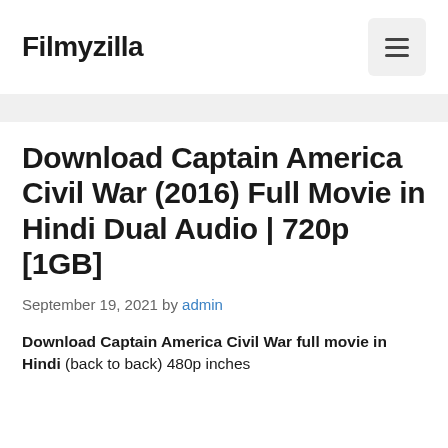Filmyzilla
Download Captain America Civil War (2016) Full Movie in Hindi Dual Audio | 720p [1GB]
September 19, 2021 by admin
Download Captain America Civil War full movie in Hindi (back to back) 480p inches